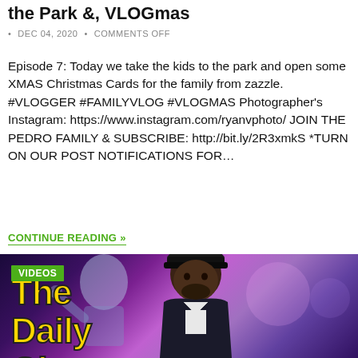the Park &, VLOGmas
DEC 04, 2020 • COMMENTS OFF
Episode 7: Today we take the kids to the park and open some XMAS Christmas Cards for the family from zazzle. #VLOGGER #FAMILYVLOG #VLOGMAS Photographer's Instagram: https://www.instagram.com/ryanvphoto/ JOIN THE PEDRO FAMILY & SUBSCRIBE: http://bit.ly/2R3xmkS *TURN ON OUR POST NOTIFICATIONS FOR…
CONTINUE READING »
[Figure (photo): Video thumbnail showing a man wearing a black cap in front of a cosmic/space-themed background with text overlay reading 'The Daily Gig'. A green 'VIDEOS' badge appears in the top left corner.]